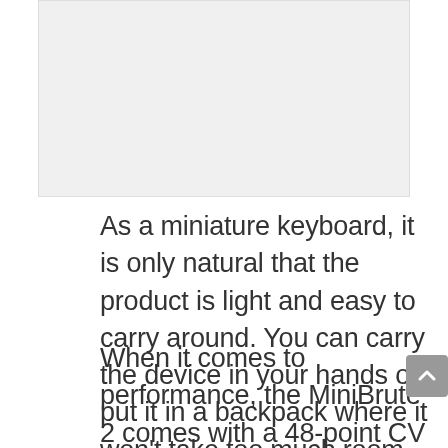[Figure (photo): Image placeholder area showing a product photo (MiniBrute 2 keyboard), rendered as a light gray rectangle]
As a miniature keyboard, it is only natural that the product is light and easy to carry around. You can carry the device in your hands or put it in a backpack where it won't take too much room.
When it comes to performance, the MiniBrute 2 comes with a 48-point CV patch bay. That gives you plenty of freedom when creating the desired sounds. You can also use the two